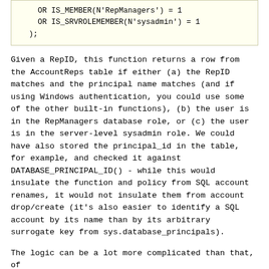OR IS_MEMBER(N'RepManagers') = 1
    OR IS_SRVROLEMEMBER(N'sysadmin') = 1
  );
Given a RepID, this function returns a row from the AccountReps table if either (a) the RepID matches and the principal name matches (and if using Windows authentication, you could use some of the other built-in functions), (b) the user is in the RepManagers database role, or (c) the user is in the server-level sysadmin role. We could have also stored the principal_id in the table, for example, and checked it against DATABASE_PRINCIPAL_ID() - while this would insulate the function and policy from SQL account renames, it would not insulate them from account drop/create (it's also easier to identify a SQL account by its name than by its arbitrary surrogate key from sys.database_principals).
The logic can be a lot more complicated than that, of